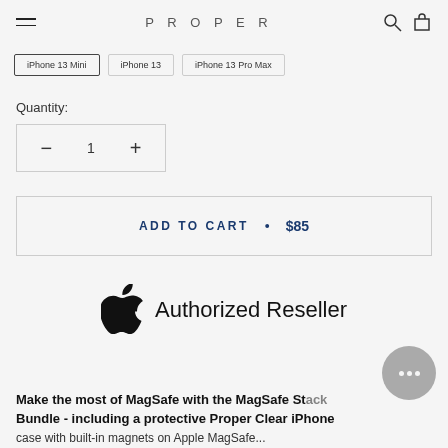PROPER
iPhone 13 Mini | iPhone 13 | iPhone 13 Pro Max
Quantity:
— 1 +
ADD TO CART • $85
[Figure (logo): Apple Authorized Reseller badge with Apple logo]
Make the most of MagSafe with the MagSafe Street Bundle - including a protective Proper Clear iPhone case with built-in magnets on Apple MagSafe